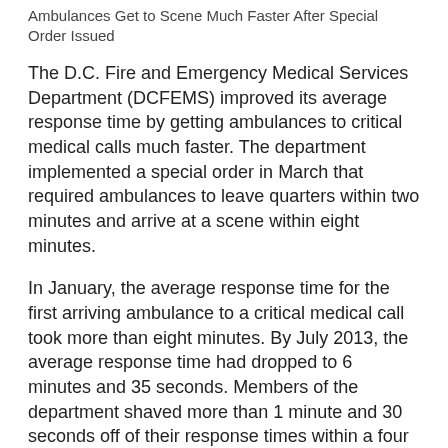Ambulances Get to Scene Much Faster After Special Order Issued
The D.C. Fire and Emergency Medical Services Department (DCFEMS) improved its average response time by getting ambulances to critical medical calls much faster. The department implemented a special order in March that required ambulances to leave quarters within two minutes and arrive at a scene within eight minutes.
In January, the average response time for the first arriving ambulance to a critical medical call took more than eight minutes. By July 2013, the average response time had dropped to 6 minutes and 35 seconds. Members of the department shaved more than 1 minute and 30 seconds off of their response times within a four month period.
“The members of the department have proven they are capable of doing great things,” said DCFEMS Chief Kenneth B. Ellerbe. “They have performed admirably despite the pressure that comes with working as a first responder.”
The response time is calculated from the moment an emergency